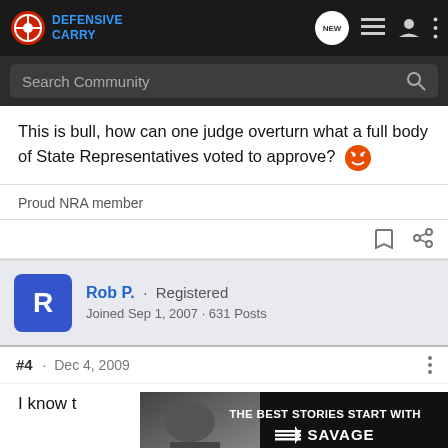Defensive Carry - NEW [icons]
Search Community
This is bull, how can one judge overturn what a full body of State Representatives voted to approve? 😠
Proud NRA member
Rob P. · Registered
Joined Sep 1, 2007 · 631 Posts
#4 · Dec 4, 2009
I know t... can do it becau...
[Figure (screenshot): Advertisement overlay: THE BEST STORIES START WITH SAVAGE]